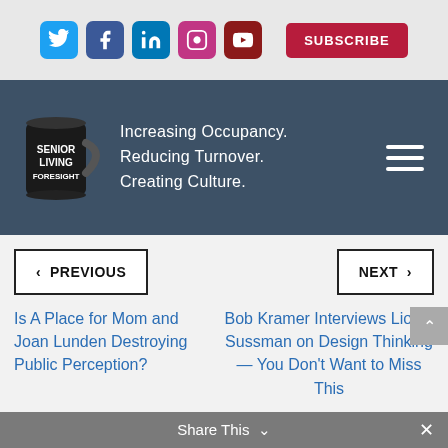[Figure (screenshot): Social media icons: Twitter (blue), Facebook (dark blue), LinkedIn (blue), Instagram (pink/magenta), YouTube (dark red), and a red Subscribe button]
[Figure (logo): Senior Living Foresight logo with a black mug and tagline: Increasing Occupancy. Reducing Turnover. Creating Culture. Hamburger menu icon on right.]
< PREVIOUS
NEXT >
Is A Place for Mom and Joan Lunden Destroying Public Perception?
Bob Kramer Interviews Lionel Sussman on Design Thinking — You Don't Want to Miss This
Share This ∨